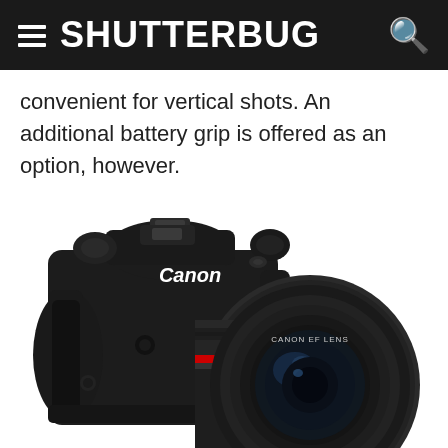SHUTTERBUG
convenient for vertical shots. An additional battery grip is offered as an option, however.
[Figure (photo): Canon EOS 5D DSLR camera with Canon EF wide-angle zoom lens, shown at a three-quarter angle against a white background.]